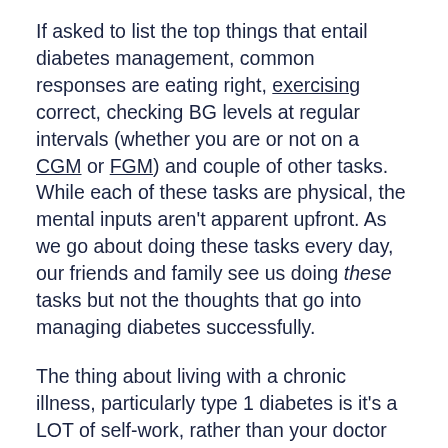If asked to list the top things that entail diabetes management, common responses are eating right, exercising correct, checking BG levels at regular intervals (whether you are or not on a CGM or FGM) and couple of other tasks. While each of these tasks are physical, the mental inputs aren't apparent upfront. As we go about doing these tasks every day, our friends and family see us doing these tasks but not the thoughts that go into managing diabetes successfully.
The thing about living with a chronic illness, particularly type 1 diabetes is it's a LOT of self-work, rather than your doctor doing it for you. They can guide you only so much. Also, there is no ONE CORRECT way of diabetes management. The only correct way is the one